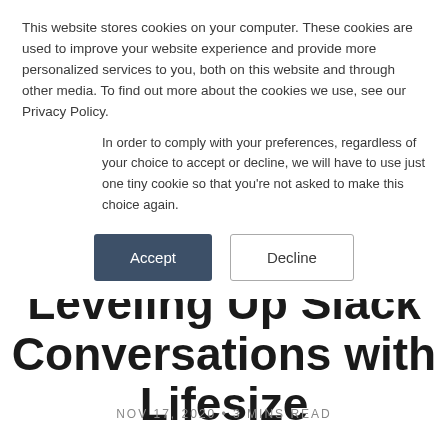This website stores cookies on your computer. These cookies are used to improve your website experience and provide more personalized services to you, both on this website and through other media. To find out more about the cookies we use, see our Privacy Policy.
In order to comply with your preferences, regardless of your choice to accept or decline, we will have to use just one tiny cookie so that you're not asked to make this choice again.
Accept | Decline
Leveling Up Slack Conversations with Lifesize
NOV 17, 2020 • 3 MINS READ